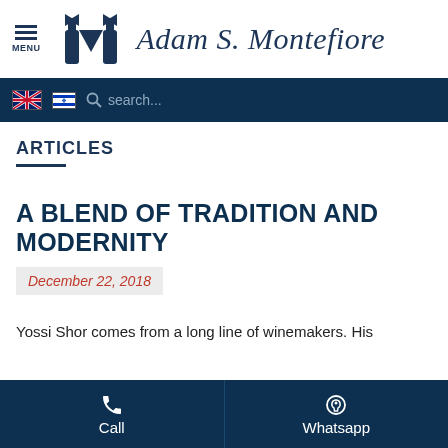Adam S. Montefiore
ARTICLES
A BLEND OF TRADITION AND MODERNITY
December 22, 2018
Yossi Shor comes from a long line of winemakers. His
Call  Whatsapp